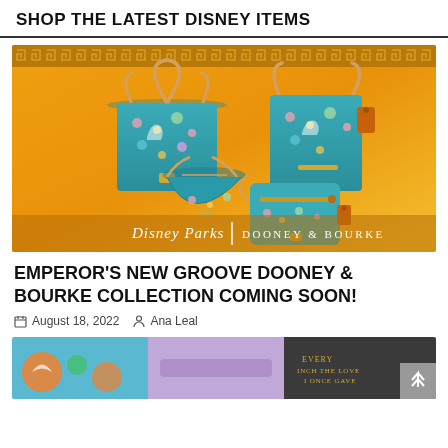SHOP THE LATEST DISNEY ITEMS
[Figure (photo): Disney Parks x Dooney & Bourke Emperor's New Groove llama-print handbag collection on a golden yellow background with Greek key border. Shows a large tote, a bucket bag, and a crossbody bag in teal with colorful llama and Inca motif print. Disney Parks | Dooney & Bourke branding at bottom.]
EMPEROR'S NEW GROOVE DOONEY & BOURKE COLLECTION COMING SOON!
August 18, 2022  Ana Leal
[Figure (photo): Bottom strip showing three partially visible Disney merchandise items: a colorful Nemo/tropical themed item on left, a light purple/lavender band in center, and a dark charcoal item with gold text on right.]